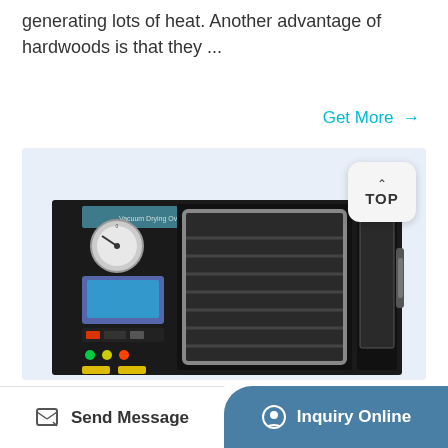generating lots of heat. Another advantage of hardwoods is that they ...
Get More →
[Figure (photo): A black vacuum drying oven with a digital control panel, pressure gauge, and open door revealing internal racks, on a light blue background.]
TOP
Send Message
Inquiry Online